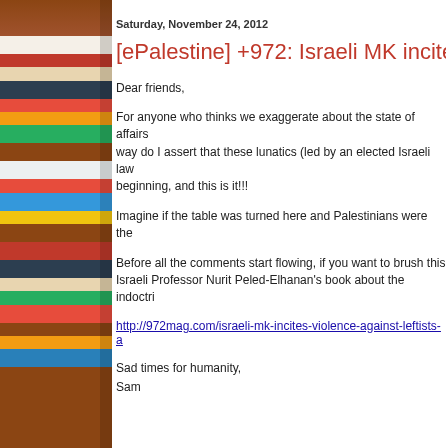[Figure (photo): Bookshelf with colorful books on the left side of the page]
Saturday, November 24, 2012
[ePalestine] +972: Israeli MK incites v
Dear friends,
For anyone who thinks we exaggerate about the state of affairs... way do I assert that these lunatics (led by an elected Israeli law... beginning, and this is it!!!
Imagine if the table was turned here and Palestinians were the...
Before all the comments start flowing, if you want to brush this... Israeli Professor Nurit Peled-Elhanan's book about the indoctri...
http://972mag.com/israeli-mk-incites-violence-against-leftists-a
Sad times for humanity,
Sam